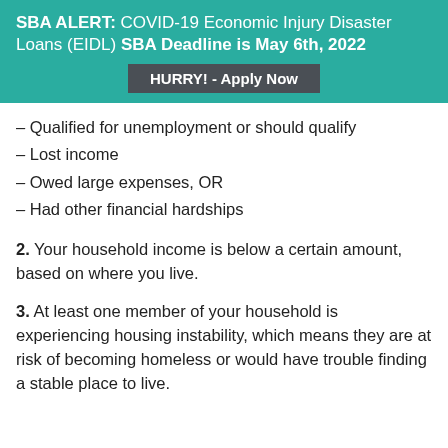SBA ALERT: COVID-19 Economic Injury Disaster Loans (EIDL) SBA Deadline is May 6th, 2022
HURRY! - Apply Now
– Qualified for unemployment or should qualify
– Lost income
– Owed large expenses, OR
– Had other financial hardships
2. Your household income is below a certain amount, based on where you live.
3. At least one member of your household is experiencing housing instability, which means they are at risk of becoming homeless or would have trouble finding a stable place to live.